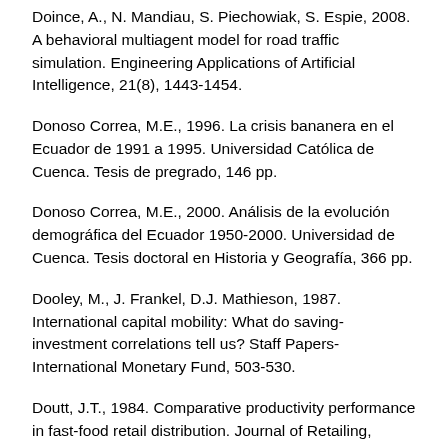Doince, A., N. Mandiau, S. Piechowiak, S. Espie, 2008. A behavioral multiagent model for road traffic simulation. Engineering Applications of Artificial Intelligence, 21(8), 1443-1454.
Donoso Correa, M.E., 1996. La crisis bananera en el Ecuador de 1991 a 1995. Universidad Católica de Cuenca. Tesis de pregrado, 146 pp.
Donoso Correa, M.E., 2000. Análisis de la evolución demográfica del Ecuador 1950-2000. Universidad de Cuenca. Tesis doctoral en Historia y Geografía, 366 pp.
Dooley, M., J. Frankel, D.J. Mathieson, 1987. International capital mobility: What do saving-investment correlations tell us? Staff Papers-International Monetary Fund, 503-530.
Doutt, J.T., 1984. Comparative productivity performance in fast-food retail distribution. Journal of Retailing, 60(3), 98-